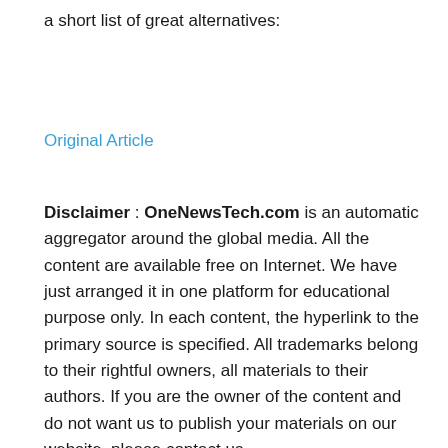a short list of great alternatives:
Original Article
Disclaimer : OneNewsTech.com is an automatic aggregator around the global media. All the content are available free on Internet. We have just arranged it in one platform for educational purpose only. In each content, the hyperlink to the primary source is specified. All trademarks belong to their rightful owners, all materials to their authors. If you are the owner of the content and do not want us to publish your materials on our website, please contact us – onetechblogs@gmail.com. The content will be deleted within 24 hours.